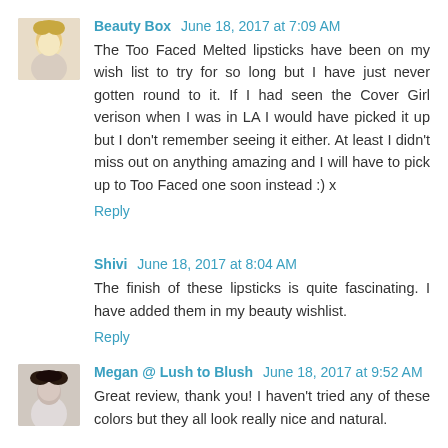Beauty Box June 18, 2017 at 7:09 AM
The Too Faced Melted lipsticks have been on my wish list to try for so long but I have just never gotten round to it. If I had seen the Cover Girl verison when I was in LA I would have picked it up but I don't remember seeing it either. At least I didn't miss out on anything amazing and I will have to pick up to Too Faced one soon instead :) x
Reply
Shivi June 18, 2017 at 8:04 AM
The finish of these lipsticks is quite fascinating. I have added them in my beauty wishlist.
Reply
Megan @ Lush to Blush June 18, 2017 at 9:52 AM
Great review, thank you! I haven't tried any of these colors but they all look really nice and natural.